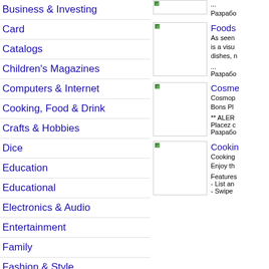Business & Investing
Card
Catalogs
Children's Magazines
Computers & Internet
Cooking, Food & Drink
Crafts & Hobbies
Dice
Education
Educational
Electronics & Audio
Entertainment
Family
Fashion & Style
Finance
[Figure (screenshot): App icon placeholder image (top, partial)]
...
Разрабо
[Figure (screenshot): Foods app icon placeholder]
Foods
As seen... is a visu... dishes, n...
...
Разрабо
[Figure (screenshot): Cosmo app icon placeholder]
Cosmo...
Cosmo... Bons Pl...
** ALER... Placez c... Разрабо
[Figure (screenshot): Cooking app icon placeholder]
Cookin...
Cooking... Enjoy th...
Features... - List an... - Swipe...